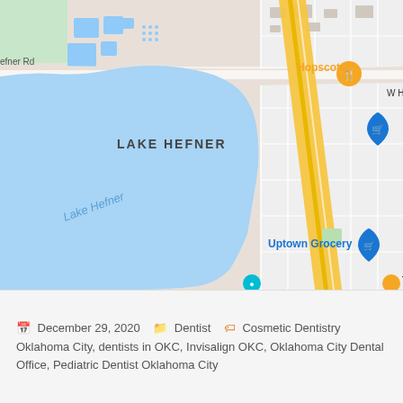[Figure (map): Google Maps view of Lake Hefner area in Oklahoma City. Shows Lake Hefner (large blue body of water) on the left, a yellow highway/road running diagonally through the center, W Hefner Rd label, Hopscotch restaurant marker in orange, a blue shopping marker on the right, Uptown Grocery marker with blue shopping cart icon, and 'LAKE HEFNER' text label in the center of the map. Additional map features include road networks, building footprints, and green park areas.]
December 29, 2020   Dentist   Cosmetic Dentistry Oklahoma City, dentists in OKC, Invisalign OKC, Oklahoma City Dental Office, Pediatric Dentist Oklahoma City